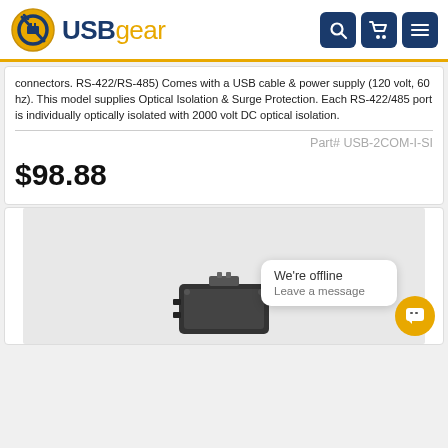USBgear
connectors. RS-422/RS-485) Comes with a USB cable & power supply (120 volt, 60 hz). This model supplies Optical Isolation & Surge Protection. Each RS-422/485 port is individually optically isolated with 2000 volt DC optical isolation.
Part# USB-2COM-I-SI
$98.88
[Figure (photo): Product image area with chat popup overlay showing 'We're offline / Leave a message' and a yellow chat button]